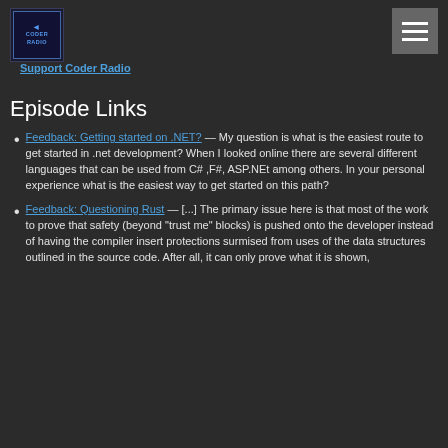[Figure (logo): Coder Radio podcast logo — dark background with text CODER RADIO in blue]
Support Coder Radio
Episode Links
Feedback: Getting started on .NET? — My question is what is the easiest route to get started in .net development? When I looked online there are several different languages that can be used from C# ,F#, ASP.NEt among others. In your personal experience what is the easiest way to get started on this path?
Feedback: Questioning Rust — [...] The primary issue here is that most of the work to prove that safety (beyond "trust me" blocks) is pushed onto the developer instead of having the compiler insert protections surmised from uses of the data structures outlined in the source code.  After all, it can only prove what it is shown,